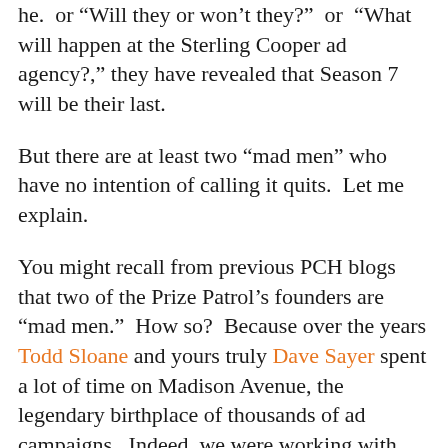he.  or  Will they or won't they?  or  What will happen at the Sterling Cooper ad agency?," they have revealed that Season 7 will be their last.
But there are at least two “mad men” who have no intention of calling it quits.  Let me explain.
You might recall from previous PCH blogs that two of the Prize Patrol’s founders are “mad men.”  How so?  Because over the years Todd Sloane and yours truly Dave Sayer spent a lot of time on Madison Avenue, the legendary birthplace of thousands of ad campaigns.  Indeed, we were working with our major New York ad agency twenty-five years ago when Todd came up with the idea of notifying PCH